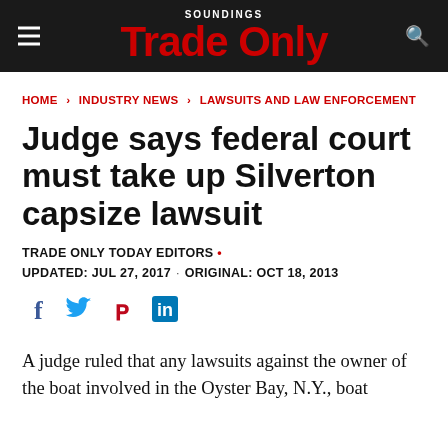SOUNDINGS Trade Only
HOME > INDUSTRY NEWS > LAWSUITS AND LAW ENFORCEMENT
Judge says federal court must take up Silverton capsize lawsuit
TRADE ONLY TODAY EDITORS •
UPDATED: JUL 27, 2017 · ORIGINAL: OCT 18, 2013
[Figure (other): Social sharing icons: Facebook, Twitter, Pinterest, LinkedIn]
A judge ruled that any lawsuits against the owner of the boat involved in the Oyster Bay, N.Y., boat